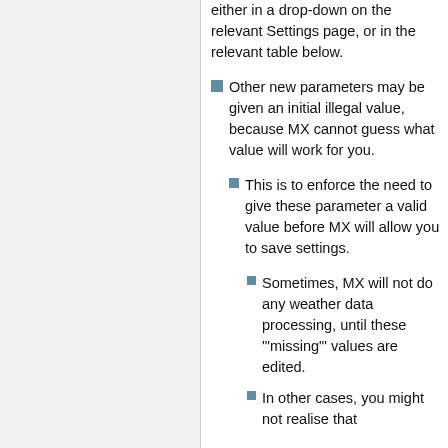either in a drop-down on the relevant Settings page, or in the relevant table below.
Other new parameters may be given an initial illegal value, because MX cannot guess what value will work for you.
This is to enforce the need to give these parameter a valid value before MX will allow you to save settings.
Sometimes, MX will not do any weather data processing, until these '"missing"' values are edited.
In other cases, you might not realise that